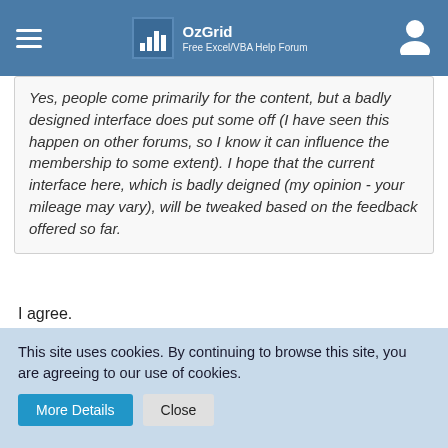OzGrid — Free Excel/VBA Help Forum
Yes, people come primarily for the content, but a badly designed interface does put some off (I have seen this happen on other forums, so I know it can influence the membership to some extent). I hope that the current interface here, which is badly deigned (my opinion - your mileage may vary), will be tweaked based on the feedback offered so far.
I agree.
I'm hopeful also, but there seems to be too much of the sorry this version doesn't do that or it requires coding that may not stick with upgrades or updates or whatever.
This site uses cookies. By continuing to browse this site, you are agreeing to our use of cookies.